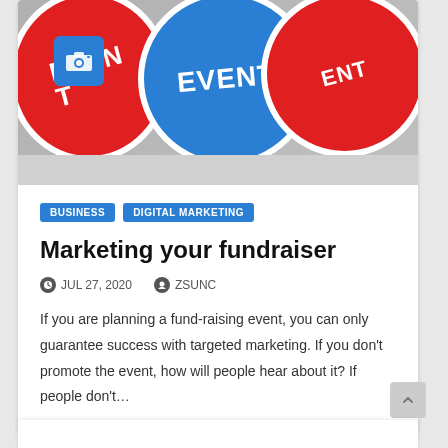[Figure (photo): Three circular event signs on poles — left and right signs are red with white border and 'EVENT' text, center sign is blue with white border and 'EVENT' text. A blue camera icon overlay appears in the upper left area of the image.]
BUSINESS
DIGITAL MARKETING
Marketing your fundraiser
JUL 27, 2020   ZSUNC
If you are planning a fund-raising event, you can only guarantee success with targeted marketing. If you don't promote the event, how will people hear about it? If people don't…